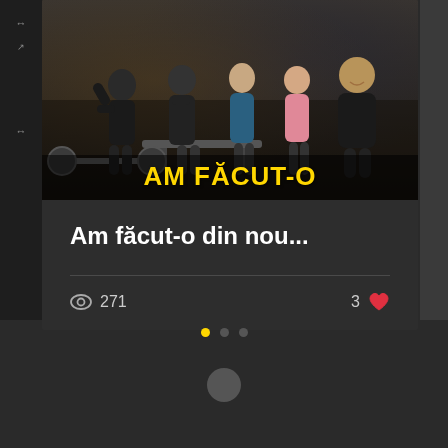[Figure (screenshot): Gym/fitness group photo with multiple people in an outdoor gym setting, dark ambiance]
AM FĂCUT-O
Am făcut-o din nou...
271 views, 3 likes